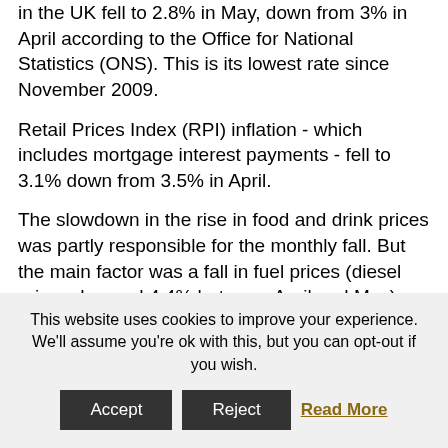in the UK fell to 2.8% in May, down from 3% in April according to the Office for National Statistics (ONS). This is its lowest rate since November 2009.
Retail Prices Index (RPI) inflation - which includes mortgage interest payments - fell to 3.1% down from 3.5% in April.
The slowdown in the rise in food and drink prices was partly responsible for the monthly fall. But the main factor was a fall in fuel prices (diesel prices dropped 4.4% between April and May)
This website uses cookies to improve your experience. We'll assume you're ok with this, but you can opt-out if you wish.